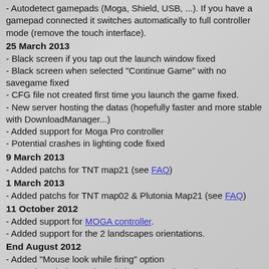- Autodetect gamepads (Moga, Shield, USB, ...). If you have a gamepad connected it switches automatically to full controller mode (remove the touch interface).
25 March 2013
- Black screen if you tap out the launch window fixed
- Black screen when selected "Continue Game" with no savegame fixed
- CFG file not created first time you launch the game fixed.
- New server hosting the datas (hopefully faster and more stable with DownloadManager...)
- Added support for Moga Pro controller
- Potential crashes in lighting code fixed
9 March 2013
- Added patchs for TNT map21 (see FAQ)
1 March 2013
- Added patchs for TNT map02 & Plutonia Map21 (see FAQ)
11 October 2012
- Added support for MOGA controller.
- Added support for the 2 landscapes orientations.
End August 2012
- Added "Mouse look while firing" option
- Stop tips window on launch (prevent useless data usage)
- Random turnover fixed (touch interface) -> some reports say it may still happen
- Tegra 2D sprites artifacts fixed (DXT5 compression support)